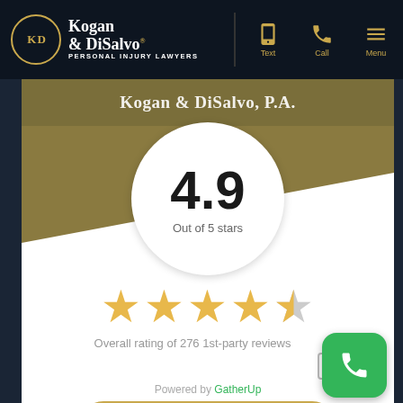Kogan & DiSalvo Personal Injury Lawyers — Text | Call | Menu
Kogan & DiSalvo, P.A.
4.9
Out of 5 stars
[Figure (infographic): 4 full gold stars and 1 half gold star rating display]
Overall rating of 276 1st-party reviews
🤖 How can I help you? ▶
Powered by GatherUp